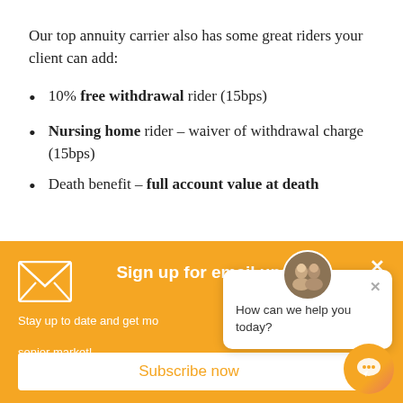Our top annuity carrier also has some great riders your client can add:
10% free withdrawal rider (15bps)
Nursing home rider – waiver of withdrawal charge (15bps)
Death benefit – full account value at death
[Figure (infographic): Orange email sign-up banner overlay with envelope icon, title 'Sign up for email updates', close button, text 'Stay up to date and get more information about the senior market!', and a 'Subscribe now' button]
[Figure (screenshot): Chat popup showing two person avatars, close button, and text 'How can we help you today?']